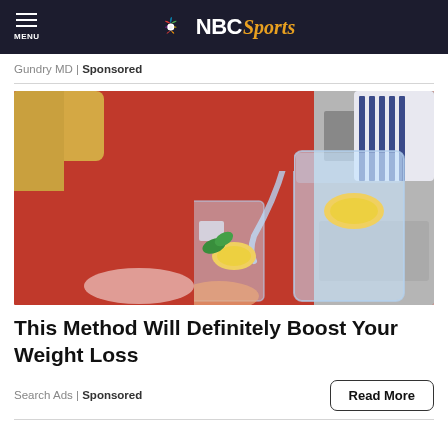MENU | NBC Sports
Gundry MD | Sponsored
[Figure (photo): A person in a red sweater pouring water with lemon slices from a glass pitcher into a tall glass with ice and lemon.]
This Method Will Definitely Boost Your Weight Loss
Search Ads | Sponsored
Read More